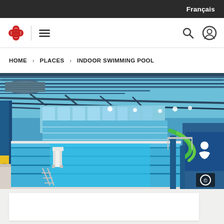Français
[Figure (logo): Red maple leaf / flower logo icon and hamburger menu icon in navigation bar, with search and user account icons on the right]
HOME > PLACES > INDOOR SWIMMING POOL
[Figure (photo): Interior photo of a large indoor swimming pool facility with bright blue water, lane dividers, lifeguard chair, water slides, industrial steel roof trusses and ductwork, and a blue sign with swimmer icon. Copyright symbol visible in bottom-right corner.]